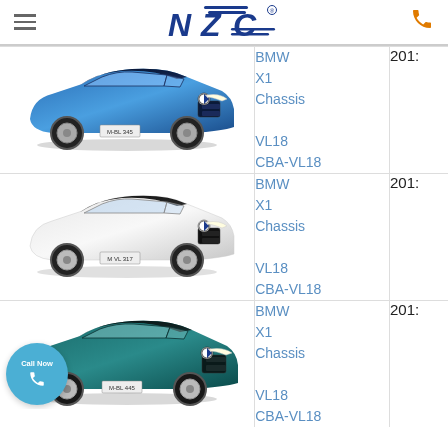NZC (logo)
[Figure (photo): Blue BMW X1 SUV]
BMW
X1
Chassis
VL18
CBA-VL18
201:
[Figure (photo): White/silver BMW X1 SUV]
BMW
X1
Chassis
VL18
CBA-VL18
201:
[Figure (photo): Teal/dark blue BMW X1 SUV]
BMW
X1
Chassis
VL18
CBA-VL18
201: